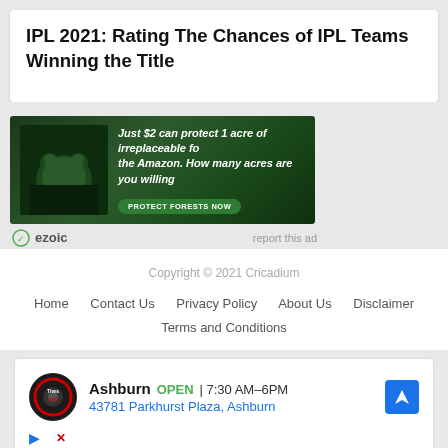IPL 2021: Rating The Chances of IPL Teams Winning the Title
[Figure (screenshot): Advertisement banner with forest/Amazon conservation message. Text reads: Just $2 can protect 1 acre of irreplaceable fo[rest in] the Amazon. How many acres are you willin[g to protect?] PROTECT FORESTS NOW. Ezoic logo shown below with 'report this ad' text.]
Copyright © 2021 Cricadium
Home    Contact Us    Privacy Policy    About Us    Disclaimer    Terms and Conditions
[Figure (screenshot): Advertisement card for Tire and Auto shop in Ashburn. Shows: Ashburn OPEN | 7:30 AM–6PM, 43781 Parkhurst Plaza, Ashburn. Navigation icon on right.]